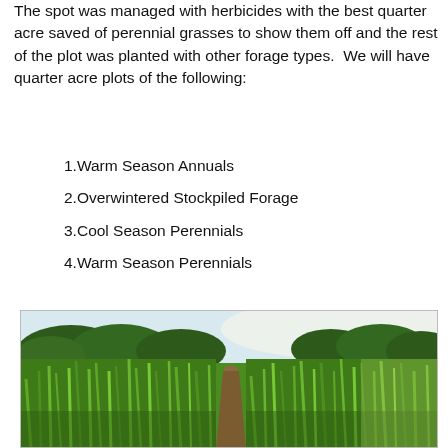The spot was managed with herbicides with the best quarter acre saved of perennial grasses to show them off and the rest of the plot was planted with other forage types.  We will have quarter acre plots of the following:
1. Warm Season Annuals
2. Overwintered Stockpiled Forage
3. Cool Season Perennials
4. Warm Season Perennials
[Figure (photo): Outdoor photograph of a grassy forage field showing two adjacent plots of tall green grasses divided by a bare dirt path, with trees visible in the background under a bright sky.]